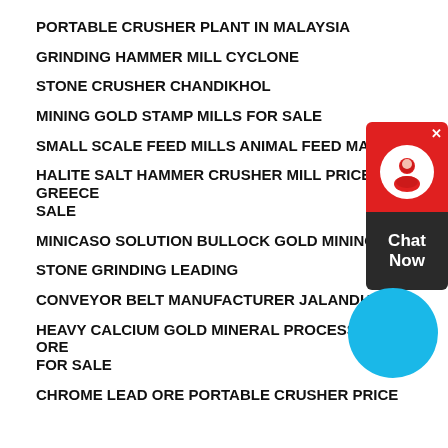PORTABLE CRUSHER PLANT IN MALAYSIA
GRINDING HAMMER MILL CYCLONE
STONE CRUSHER CHANDIKHOL
MINING GOLD STAMP MILLS FOR SALE
SMALL SCALE FEED MILLS ANIMAL FEED MACHINE
HALITE SALT HAMMER CRUSHER MILL PRICE IN GREECE SALE
MINICASO SOLUTION BULLOCK GOLD MINING
STONE GRINDING LEADING
CONVEYOR BELT MANUFACTURER JALANDHAR
HEAVY CALCIUM GOLD MINERAL PROCESSING GOLD ORE FOR SALE
CHROME LEAD ORE PORTABLE CRUSHER PRICE
[Figure (other): Chat widget with red top section showing a customer service icon and dark bottom section with 'Chat Now' text, plus a blue circular button below it.]